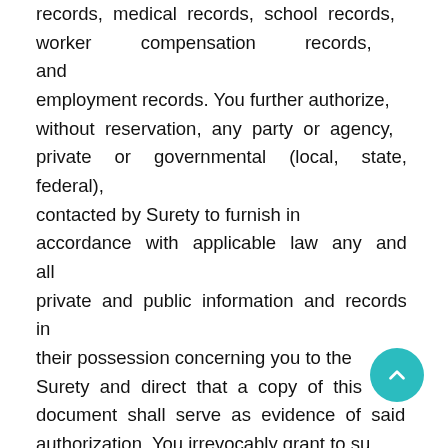records, medical records, school records, worker compensation records, and employment records. You further authorize, without reservation, any party or agency, private or governmental (local, state, federal), contacted by Surety to furnish in accordance with applicable law any and all private and public information and records in their possession concerning you to the Surety and direct that a copy of this document shall serve as evidence of said authorization. You irrevocably grant to su... and its producers, agents and representatives the right to...